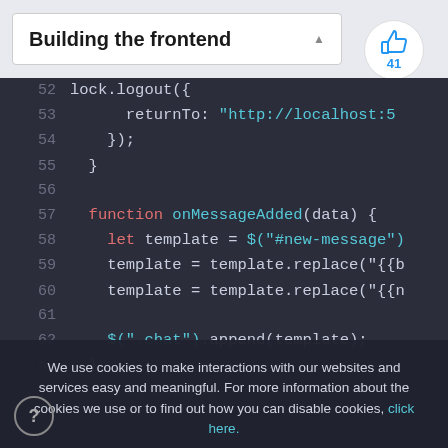Building the frontend
[Figure (screenshot): Thumbs up icon with count 41]
[Figure (screenshot): Code editor screenshot showing JavaScript code lines 52-63 and 66-69. Lines include lock.logout, returnTo, function onMessageAdded(data), let template, template.replace, and $(".chat").append(template).]
We use cookies to make interactions with our websites and services easy and meaningful. For more information about the cookies we use or to find out how you can disable cookies, click here.
Accept cookies and close this message
Disable cookies